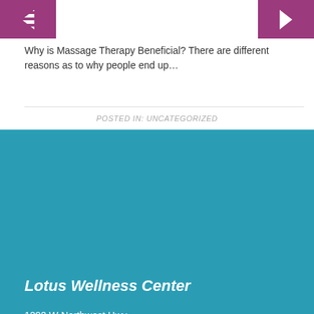Why is Massage Therapy Beneficial? There are different reasons as to why people end up…
POSTED IN: UNCATEGORIZED
Lotus Wellness Center
1292 W Northwest Hwy
Palatine, IL 60067
Also Serving Schaumburg IL, Inverness IL, Lake Zurich IL and Barrington IL
773-692-0100
E-mail: info@lotuswellnesscenter.com